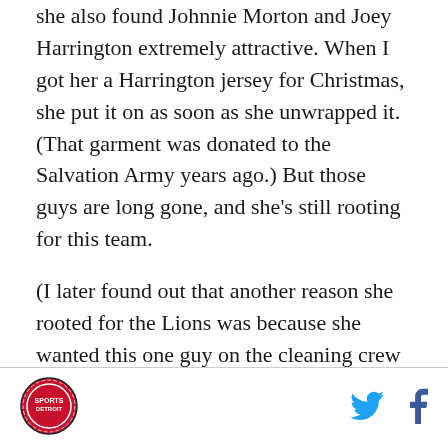she also found Johnnie Morton and Joey Harrington extremely attractive. When I got her a Harrington jersey for Christmas, she put it on as soon as she unwrapped it. (That garment was donated to the Salvation Army years ago.) But those guys are long gone, and she's still rooting for this team.
(I later found out that another reason she rooted for the Lions was because she wanted this one guy on the cleaning crew at the hospital to shut up. He found out she was a Lions fan and would often bother her in the break room with a "They're losing — again!" taunt. Or if they had the lead, it was "They're winning — but they're going to blow it!" I mention this largely because I can't stand these kinds of fans. They take all of the
[Figure (logo): Round Detroit sports logo in footer]